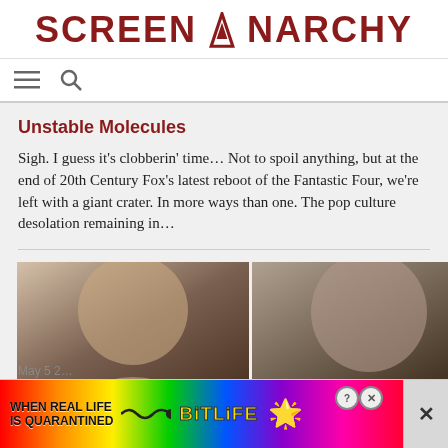SCREENANARCHY
[Figure (screenshot): Navigation bar with hamburger menu icon and search icon]
Unstable Molecules
Sigh. I guess it's clobberin' time… Not to spoil anything, but at the end of 20th Century Fox's latest reboot of the Fantastic Four, we're left with a giant crater. In more ways than one. The pop culture desolation remaining in…
[Figure (photo): Grid of four photos showing two men headshots on top row and a woman and a building on bottom row]
May 5 2...
[Figure (screenshot): Advertisement banner: WHEN REAL LIFE IS QUARANTINED with BitLife branding and emoji graphics]